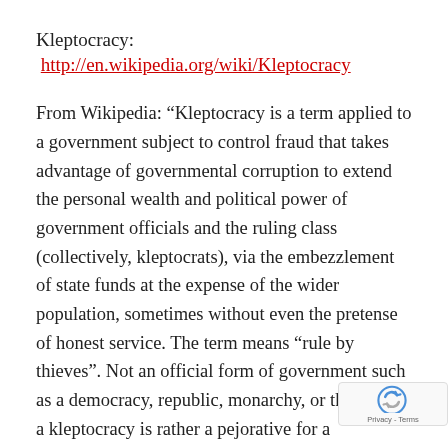Kleptocracy: http://en.wikipedia.org/wiki/Kleptocracy
From Wikipedia: “Kleptocracy is a term applied to a government subject to control fraud that takes advantage of governmental corruption to extend the personal wealth and political power of government officials and the ruling class (collectively, kleptocrats), via the embezzlement of state funds at the expense of the wider population, sometimes without even the pretense of honest service. The term means “rule by thieves”. Not an official form of government such as a democracy, republic, monarchy, or theocracy; a kleptocracy is rather a pejorative for a government perceived to have a particularly severe and system